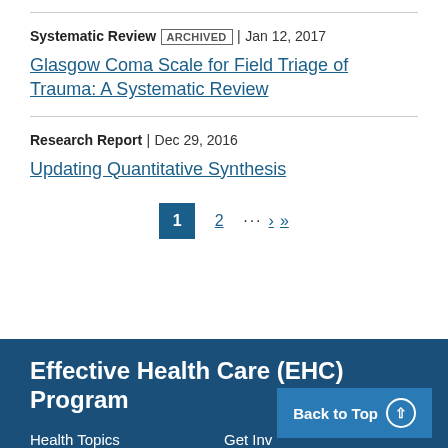Systematic Review | ARCHIVED | Jan 12, 2017
Glasgow Coma Scale for Field Triage of Trauma: A Systematic Review
Research Report | Dec 29, 2016
Updating Quantitative Synthesis
1 2 ... › »
Effective Health Care (EHC) Program
Health Topics   Get Involved   Back to Top